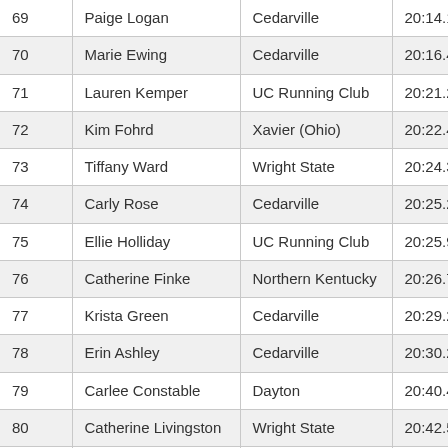| # | Name | School | Time |
| --- | --- | --- | --- |
| 69 | Paige Logan | Cedarville | 20:14.1 |
| 70 | Marie Ewing | Cedarville | 20:16.4 |
| 71 | Lauren Kemper | UC Running Club | 20:21.2 |
| 72 | Kim Fohrd | Xavier (Ohio) | 20:22.4 |
| 73 | Tiffany Ward | Wright State | 20:24.3 |
| 74 | Carly Rose | Cedarville | 20:25.2 |
| 75 | Ellie Holliday | UC Running Club | 20:25.9 |
| 76 | Catherine Finke | Northern Kentucky | 20:26.7 |
| 77 | Krista Green | Cedarville | 20:29.2 |
| 78 | Erin Ashley | Cedarville | 20:30.2 |
| 79 | Carlee Constable | Dayton | 20:40.4 |
| 80 | Catherine Livingston | Wright State | 20:42.5 |
| 81 | Hannah Karayan | Cedarville | 20:43.8 |
| 82 | Laura Drew | Wright State | 20:55.5 |